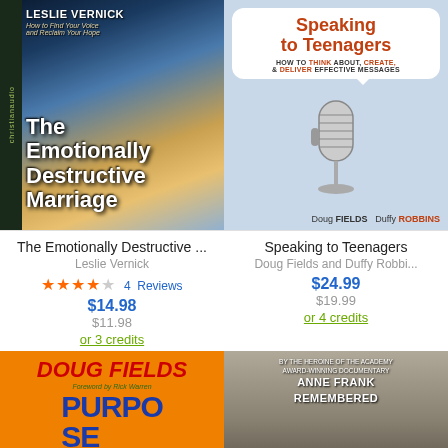[Figure (illustration): Book cover: The Emotionally Destructive Marriage by Leslie Vernick, audiobook cover with dramatic sky and fence imagery, christianaudio branding on sidebar]
[Figure (illustration): Book cover: Speaking to Teenagers by Doug Fields and Duffy Robbins, light blue background with speech bubble containing title and microphone image]
The Emotionally Destructive ...
Speaking to Teenagers
Leslie Vernick
Doug Fields and Duffy Robbi...
4 Reviews
$14.98
$11.98
or 3 credits
$24.99
$19.99
or 4 credits
[Figure (illustration): Book cover: Purpose by Doug Fields, orange background with author name in red italic and title in blue uppercase letters, Foreword by Rick Warren]
[Figure (illustration): Book cover: Anne Frank Remembered, black and white photograph of a person, text overlay at top]